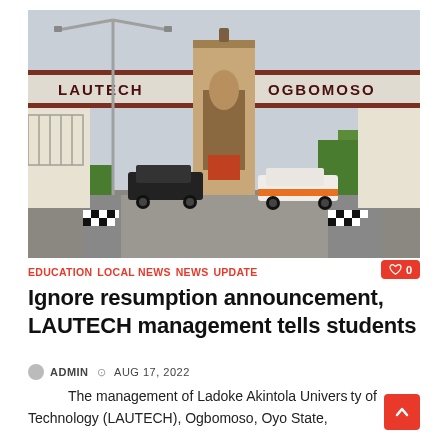[Figure (photo): Entrance gate of LAUTECH (Ladoke Akintola University of Technology) in Ogbomoso. The gate arch reads LAUTECH on the left and OGBOMOSO on the right. A car is passing through the gate on a paved road with street lights and trees visible.]
EDUCATION  LOCAL NEWS  NEWS  UPDATE
Ignore resumption announcement, LAUTECH management tells students
ADMIN  AUG 17, 2022
The management of Ladoke Akintola University of Technology (LAUTECH), Ogbomoso, Oyo State,